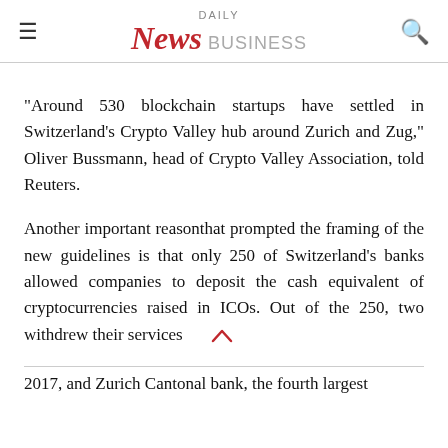DAILY News BUSINESS
"Around 530 blockchain startups have settled in Switzerland’s Crypto Valley hub around Zurich and Zug," Oliver Bussmann, head of Crypto Valley Association, told Reuters.
Another important reasonthat prompted the framing of the new guidelines is that only 250 of Switzerland’s banks allowed companies to deposit the cash equivalent of cryptocurrencies raised in ICOs. Out of the 250, two withdrew their services 2017, and Zurich Cantonal bank, the fourth largest